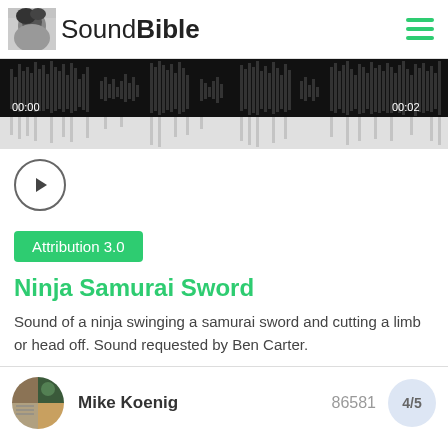SoundBible
[Figure (other): Audio waveform visualization showing sound amplitude over time from 00:00 to 00:02, with black bars on dark background and grey reflection below]
[Figure (other): Circular play button with triangle/arrow icon]
Attribution 3.0
Ninja Samurai Sword
Sound of a ninja swinging a samurai sword and cutting a limb or head off. Sound requested by Ben Carter.
Mike Koenig  86581  4/5